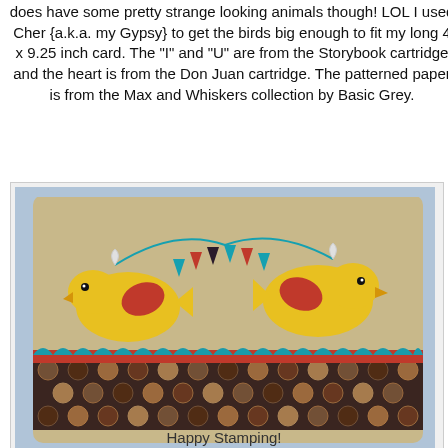does have some pretty strange looking animals though! LOL I used Cher {a.k.a. my Gypsy} to get the birds big enough to fit my long 4 x 9.25 inch card. The "I" and "U" are from the Storybook cartridge and the heart is from the Don Juan cartridge. The patterned paper is from the Max and Whiskers collection by Basic Grey.
[Figure (photo): A handmade greeting card featuring two yellow birds facing each other with a bunting/banner of triangular flags strung between them. The card has a tan/kraft background, a polka dot patterned paper strip at the bottom, a red horizontal stripe, and a teal scalloped edge. The birds have red wing accents and there are decorative bows at the top of the banner strings.]
I really REALLY love this collection! I have made a few cards with the fun doggy patterned paper already, so stay tuned. ;o) Ok, I still hope you're having a GREAT day!!!! See you tomorrow with the new stamp fun!!!!! And there may be a mini blog hop to boot!
Happy Stamping!